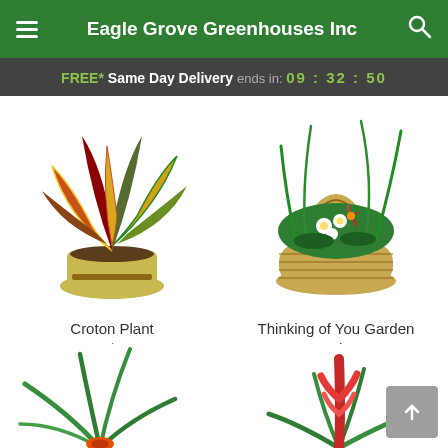Eagle Grove Greenhouses Inc
FREE* Same Day Delivery ends in: 09 : 32 : 50
[Figure (photo): Croton plant in a woven yellow pot with colorful red, yellow and green leaves]
Croton Plant
From $44.95
[Figure (photo): Thinking of You Garden Basket - a wicker basket with white and red flowers and green foliage]
Thinking of You Garden Basket
From $64.95
[Figure (photo): Partial view of a green spiky plant at the bottom left corner]
[Figure (photo): Partial view of a red bromeliad plant at the bottom right corner]